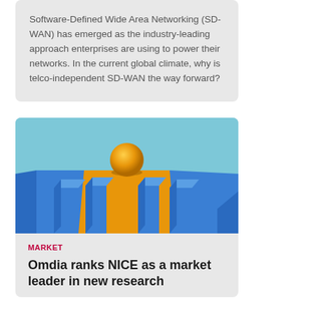Software-Defined Wide Area Networking (SD-WAN) has emerged as the industry-leading approach enterprises are using to power their networks. In the current global climate, why is telco-independent SD-WAN the way forward?
[Figure (illustration): 3D render of blue parallel tracks with blue cube obstacles and an orange sphere rolling on an orange lane between them, against a light blue background]
MARKET
Omdia ranks NICE as a market leader in new research